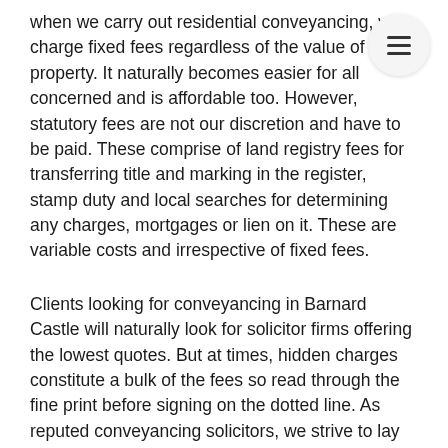when we carry out residential conveyancing, we charge fixed fees regardless of the value of the property. It naturally becomes easier for all concerned and is affordable too. However, statutory fees are not our discretion and have to be paid. These comprise of land registry fees for transferring title and marking in the register, stamp duty and local searches for determining any charges, mortgages or lien on it. These are variable costs and irrespective of fixed fees.
Clients looking for conveyancing in Barnard Castle will naturally look for solicitor firms offering the lowest quotes. But at times, hidden charges constitute a bulk of the fees so read through the fine print before signing on the dotted line. As reputed conveyancing solicitors, we strive to lay all our cards on the table and make everything transparent and above board. Our fixed fee charges are all inclusive and will not have surprise components cropping up when we present the final bill. When we talk about fixed fees, it remains just that – fixed. Most importantly, our charges are very low when compared to the